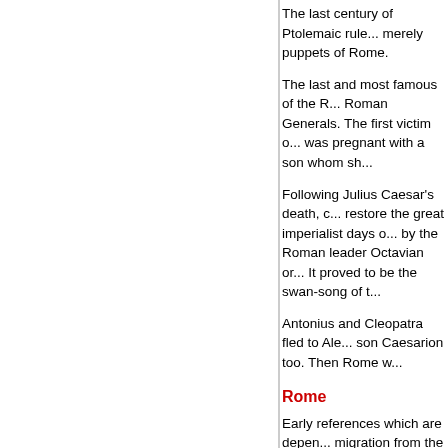The last century of Ptolemaic rule... merely puppets of Rome.
The last and most famous of the R... Roman Generals. The first victim o... was pregnant with a son whom sh...
Following Julius Caesar's death, c... restore the great imperialist days o... by the Roman leader Octavian or ... It proved to be the swan-song of t...
Antonius and Cleopatra fled to Ale... son Caesarion too. Then Rome w...
Rome
Early references which are depen... migration from the city of Troy. Th...
The story goes that two of Aeneas... beauty) were Romulus and Remu... branches that were floating on the... eventually found by a shepherd w...
The priests at the temple prophes... the mouth of the river Tiber. The t... Rome around 753 B.C.
The Roman Era in Egypt
While Hellenistic kingdoms fell on... until 30B.C., after the naval Battle... the Ptolemaic Dynasty which laste...